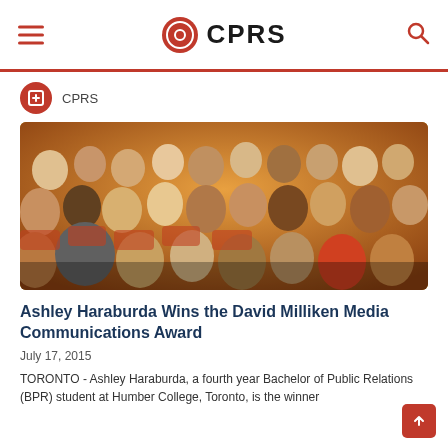CPRS
CPRS
[Figure (photo): Audience of people seated in auditorium chairs attending a conference or event, viewed from the side]
Ashley Haraburda Wins the David Milliken Media Communications Award
July 17, 2015
TORONTO - Ashley Haraburda, a fourth year Bachelor of Public Relations (BPR) student at Humber College, Toronto, is the winner